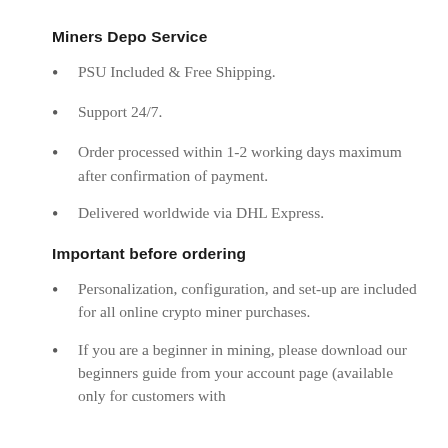Miners Depo Service
PSU Included & Free Shipping.
Support 24/7.
Order processed within 1-2 working days maximum after confirmation of payment.
Delivered worldwide via DHL Express.
Important before ordering
Personalization, configuration, and set-up are included for all online crypto miner purchases.
If you are a beginner in mining, please download our beginners guide from your account page (available only for customers with